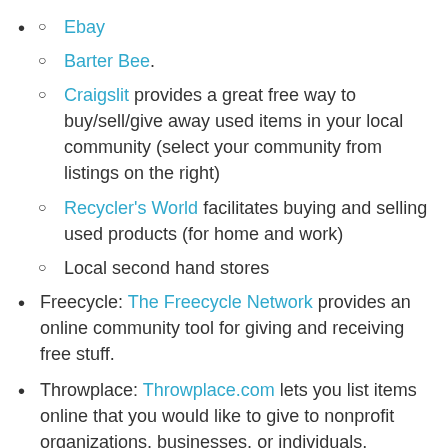Ebay
Barter Bee.
Craigslit provides a great free way to buy/sell/give away used items in your local community (select your community from listings on the right)
Recycler's World facilitates buying and selling used products (for home and work)
Local second hand stores
Freecycle: The Freecycle Network provides an online community tool for giving and receiving free stuff.
Throwplace: Throwplace.com lets you list items online that you would like to give to nonprofit organizations, businesses, or individuals.
Community Swap: Organize a community swap program (i.e., designate a place where people can leave unwanted items for others to use).